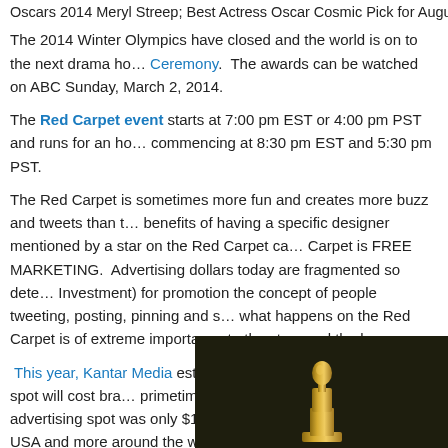Oscars 2014 Meryl Streep, Best Actress Oscar Cosmic Pick for August: Osage C...
The 2014 Winter Olympics have closed and the world is on to the next drama ho... Ceremony. The awards can be watched on ABC Sunday, March 2, 2014.
The Red Carpet event starts at 7:00 pm EST or 4:00 pm PST and runs for an ho... commencing at 8:30 pm EST and 5:30 pm PST.
The Red Carpet is sometimes more fun and creates more buzz and tweets than t... benefits of having a specific designer mentioned by a star on the Red Carpet ca... Carpet is FREE MARKETING. Advertising dollars today are fragmented so dete... Investment) for promotion the concept of people tweeting, posting, pinning and s... what happens on the Red Carpet is of extreme importance to the stars and the b...
This year, Kantar Media estimates that a 30 second advertising spot will cost bra... primetime show. Last year the 30-second advertising spot was only $1.65 millio... hundred million in the USA and more around the world. Will you be there? Who will be watching the 86th Annual Oscar Awards?
"Get an APP for that" and watch on your phone if you won't be close to a televi...
[Figure (photo): Oscar statuette gold figurine on dark background, bottom right of page]